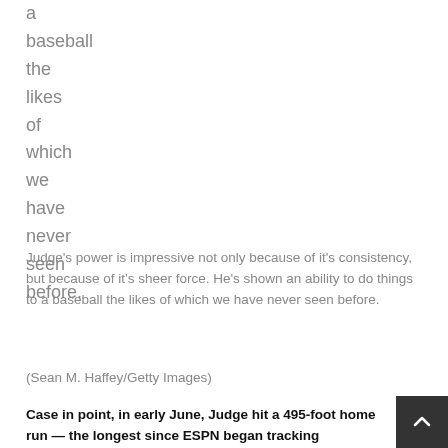a
baseball
the
likes
of
which
we
have
never
seen
before.
Judge’s power is impressive not only because of it's consistency, but because of it's sheer force. He's shown an ability to do things to a baseball the likes of which we have never seen before.
(Sean M. Haffey/Getty Images)
Case in point, in early June, Judge hit a 495-foot home run — the longest since ESPN began tracking distances in 2009. Th